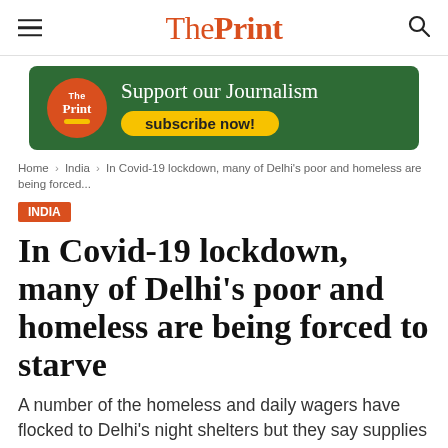ThePrint
[Figure (other): ThePrint subscription advertisement banner with green background, ThePrint logo, text 'Support our Journalism' and 'subscribe now!' button]
Home › India › In Covid-19 lockdown, many of Delhi's poor and homeless are being forced...
India
In Covid-19 lockdown, many of Delhi's poor and homeless are being forced to starve
A number of the homeless and daily wagers have flocked to Delhi's night shelters but they say supplies have been erratic there